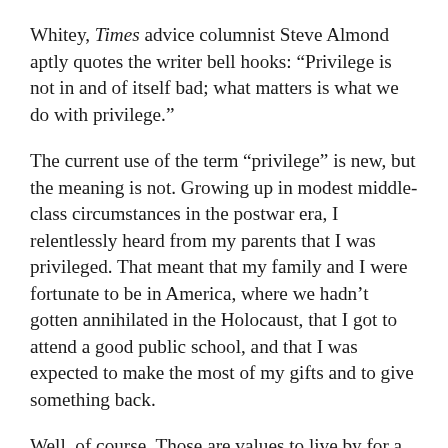Whitey, Times advice columnist Steve Almond aptly quotes the writer bell hooks: “Privilege is not in and of itself bad; what matters is what we do with privilege.”
The current use of the term “privilege” is new, but the meaning is not. Growing up in modest middle-class circumstances in the postwar era, I relentlessly heard from my parents that I was privileged. That meant that my family and I were fortunate to be in America, where we hadn’t gotten annihilated in the Holocaust, that I got to attend a good public school, and that I was expected to make the most of my gifts and to give something back.
Well, of course. Those are values to live by for a lifetime. Black kids, whose parents had struggled